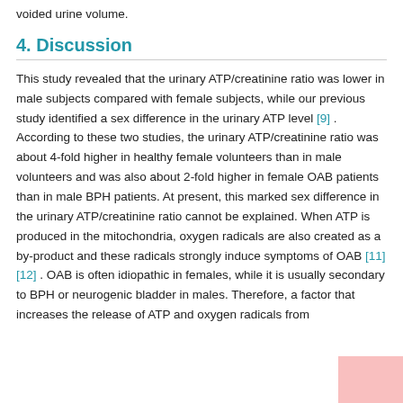voided urine volume.
4. Discussion
This study revealed that the urinary ATP/creatinine ratio was lower in male subjects compared with female subjects, while our previous study identified a sex difference in the urinary ATP level [9] . According to these two studies, the urinary ATP/creatinine ratio was about 4-fold higher in healthy female volunteers than in male volunteers and was also about 2-fold higher in female OAB patients than in male BPH patients. At present, this marked sex difference in the urinary ATP/creatinine ratio cannot be explained. When ATP is produced in the mitochondria, oxygen radicals are also created as a by-product and these radicals strongly induce symptoms of OAB [11] [12] . OAB is often idiopathic in females, while it is usually secondary to BPH or neurogenic bladder in males. Therefore, a factor that increases the release of ATP and oxygen radicals from